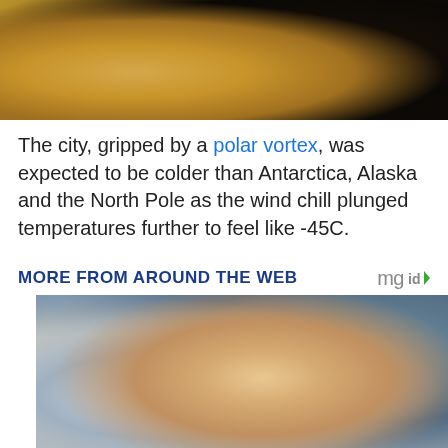[Figure (photo): Close-up photo of sandy/muddy ground with dark background, appears to be an outdoor scene]
The city, gripped by a polar vortex, was expected to be colder than Antarctica, Alaska and the North Pole as the wind chill plunged temperatures further to feel like -45C.
MORE FROM AROUND THE WEB
[Figure (photo): Woman with blonde hair in ponytail carrying a large heavy stone ball outdoors, with crowd of people and shipping containers visible in background]